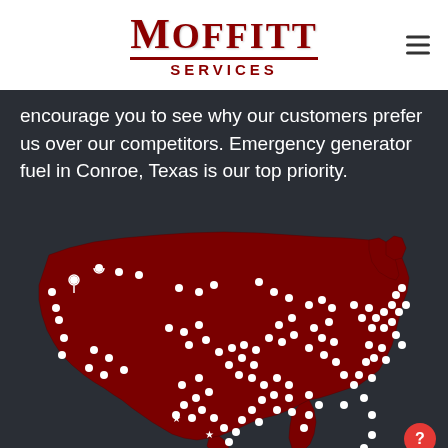Moffitt Services
encourage you to see why our customers prefer us over our competitors. Emergency generator fuel in Conroe, Texas is our top priority.
[Figure (map): Map of the United States filled in dark red/maroon color with numerous white location pin markers scattered across all regions of the country, indicating Moffitt Services service locations nationwide.]